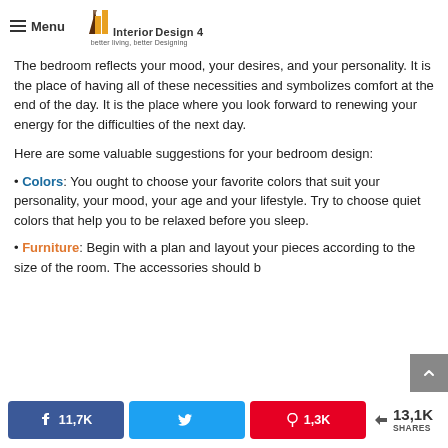Menu | Interior Design 4 — better living, better Designing
The bedroom reflects your mood, your desires, and your personality. It is the place of having all of these necessities and symbolizes comfort at the end of the day. It is the place where you look forward to renewing your energy for the difficulties of the next day.
Here are some valuable suggestions for your bedroom design:
• Colors: You ought to choose your favorite colors that suit your personality, your mood, your age and your lifestyle. Try to choose quiet colors that help you to be relaxed before you sleep.
• Furniture: Begin with a plan and layout your pieces according to the size of the room. The accessories should b
11,7K  |  (tweet)  |  1,3K  |  < 13,1K SHARES